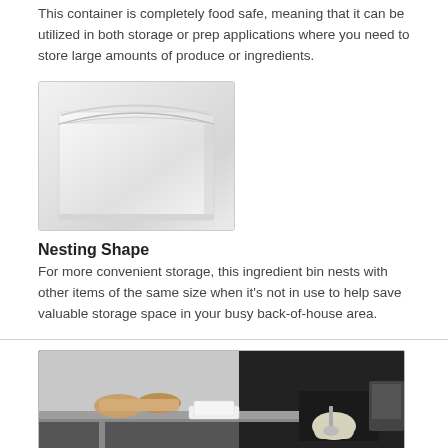This container is completely food safe, meaning that it can be utilized in both storage or prep applications where you need to store large amounts of produce or ingredients.
[Figure (photo): Close-up photo of a white plastic ingredient bin/container showing its nesting shape with curved top edge against a light background]
Nesting Shape
For more convenient storage, this ingredient bin nests with other items of the same size when it's not in use to help save valuable storage space in your busy back-of-house area.
[Figure (photo): Photo of a person in a black uniform and white gloves working at a stainless steel prep table in a commercial kitchen, with white containers and food items visible]